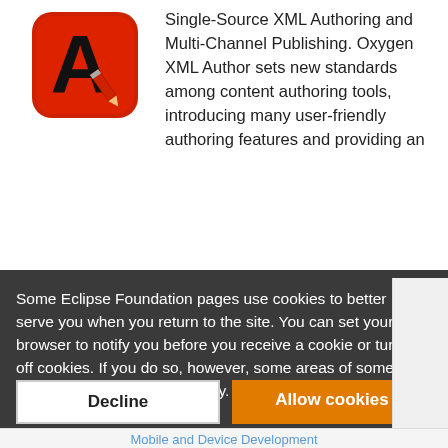[Figure (logo): Oxygen XML Author logo: red rounded square with large black letter A and red pencil]
Single-Source XML Authoring and Multi-Channel Publishing. Oxygen XML Author sets new standards among content authoring tools, introducing many user-friendly authoring features and providing an
Some Eclipse Foundation pages use cookies to better serve you when you return to the site. You can set your browser to notify you before you receive a cookie or turn off cookies. If you do so, however, some areas of some sites may not function properly. To read Eclipse Foundation Privacy Policy click here.
Decline
Allow cookies
Mobile and Device Development